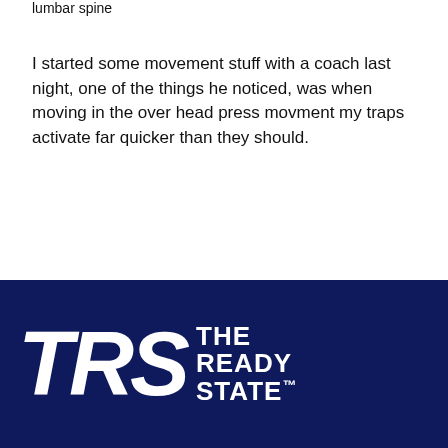lumbar spine
I started some movement stuff with a coach last night, one of the things he noticed, was when moving in the over head press movment my traps activate far quicker than they should.
[Figure (logo): TRS The Ready State logo — white text on dark navy background. Large bold italic letters TRS on the left, with THE READY STATE™ stacked text on the right.]